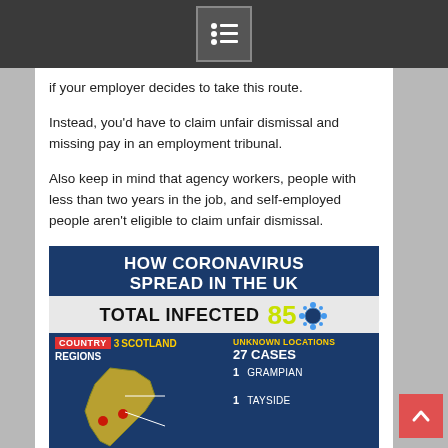[Navigation menu icon]
if your employer decides to take this route.
Instead, you'd have to claim unfair dismissal and missing pay in an employment tribunal.
Also keep in mind that agency workers, people with less than two years in the job, and self-employed people aren't eligible to claim unfair dismissal.
[Figure (infographic): Infographic titled 'HOW CORONAVIRUS SPREAD IN THE UK' showing TOTAL INFECTED: 85. Map of UK showing Scotland with 3 cases, with regions: Ayrshire 1, Grampian 1, Tayside 1, and Unknown Locations 27 Cases listed on the right.]